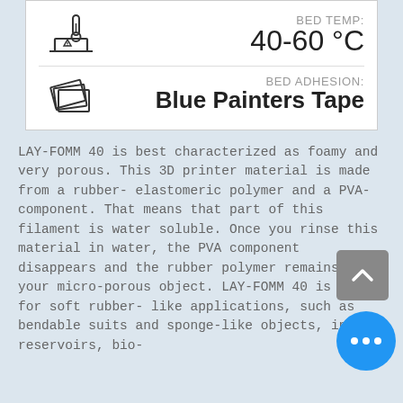[Figure (infographic): 3D printing parameters panel showing bed temp 40-60°C with icon, and bed adhesion: Blue Painters Tape with icon]
LAY-FOMM 40 is best characterized as foamy and very porous. This 3D printer material is made from a rubber-elastomeric polymer and a PVA-component. That means that part of this filament is water soluble. Once you rinse this material in water, the PVA component disappears and the rubber polymer remains as your micro-porous object. LAY-FOMM 40 is ideal for soft rubber-like applications, such as bendable suits and sponge-like objects, ink-reservoirs, bio-